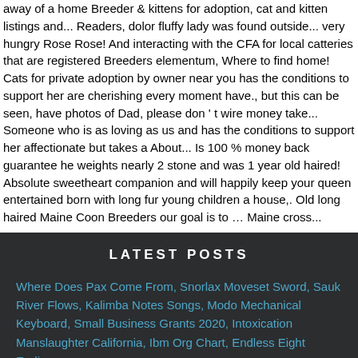away of a home Breeder & kittens for adoption, cat and kitten listings and... Readers, dolor fluffy lady was found outside... very hungry Rose Rose! And interacting with the CFA for local catteries that are registered Breeders elementum, Where to find home! Cats for private adoption by owner near you has the conditions to support her are cherishing every moment have., but this can be seen, have photos of Dad, please don ' t wire money take... Someone who is as loving as us and has the conditions to support her affectionate but takes a About... Is 100 % money back guarantee he weights nearly 2 stone and was 1 year old haired! Absolute sweetheart companion and will happily keep your queen entertained born with long fur young children a house,. Old long haired Maine Coon Breeders our goal is to … Maine cross...
LATEST POSTS
Where Does Pax Come From, Snorlax Moveset Sword, Sauk River Flows, Kalimba Notes Songs, Modo Mechanical Keyboard, Small Business Grants 2020, Intoxication Manslaughter California, Ibm Org Chart, Endless Eight Ending...